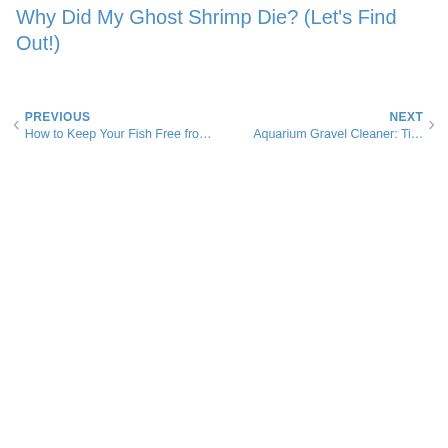Why Did My Ghost Shrimp Die? (Let’s Find Out!)
PREVIOUS
How to Keep Your Fish Free fro…
NEXT
Aquarium Gravel Cleaner: Ti…